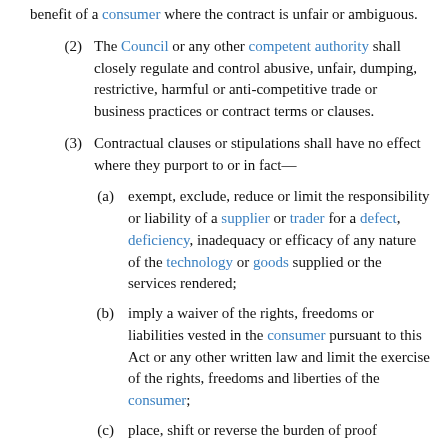benefit of a consumer where the contract is unfair or ambiguous.
(2) The Council or any other competent authority shall closely regulate and control abusive, unfair, dumping, restrictive, harmful or anti-competitive trade or business practices or contract terms or clauses.
(3) Contractual clauses or stipulations shall have no effect where they purport to or in fact—
(a) exempt, exclude, reduce or limit the responsibility or liability of a supplier or trader for a defect, deficiency, inadequacy or efficacy of any nature of the technology or goods supplied or the services rendered;
(b) imply a waiver of the rights, freedoms or liabilities vested in the consumer pursuant to this Act or any other written law and limit the exercise of the rights, freedoms and liberties of the consumer;
(c) place, shift or reverse the burden of proof